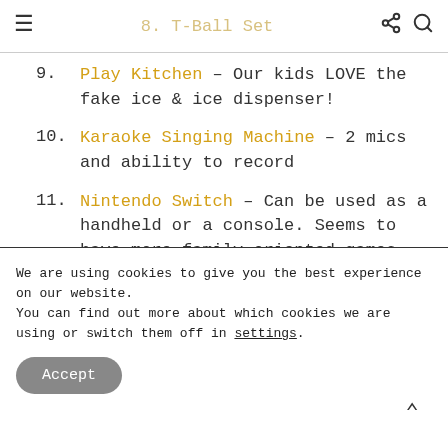8. T-Ball Set
9. Play Kitchen – Our kids LOVE the fake ice & ice dispenser!
10. Karaoke Singing Machine – 2 mics and ability to record
11. Nintendo Switch – Can be used as a handheld or a console. Seems to have more family-oriented games than other consoles.
We are using cookies to give you the best experience on our website.
You can find out more about which cookies we are using or switch them off in settings.